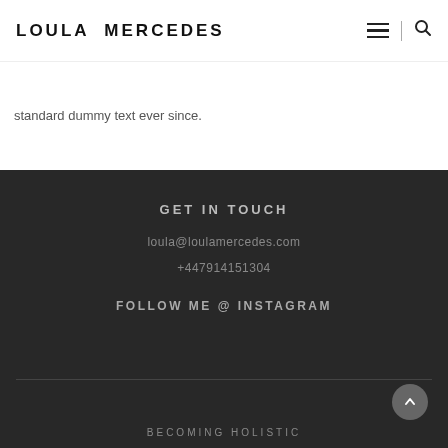LOULA MERCEDES
standard dummy text ever since.
GET IN TOUCH
loula@loulamercedes.com
+447914151304
FOLLOW ME @ INSTAGRAM
BECOMING HOLISTIC